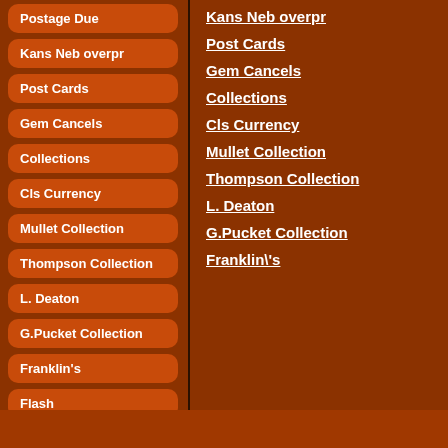Postage Due
Kans Neb overpr
Post Cards
Gem Cancels
Collections
Cls Currency
Mullet Collection
Thompson Collection
L. Deaton
G.Pucket Collection
Franklin's
Flash
Kans Neb overpr
Post Cards
Gem Cancels
Collections
Cls Currency
Mullet Collection
Thompson Collection
L. Deaton
G.Pucket Collection
Franklin\'s